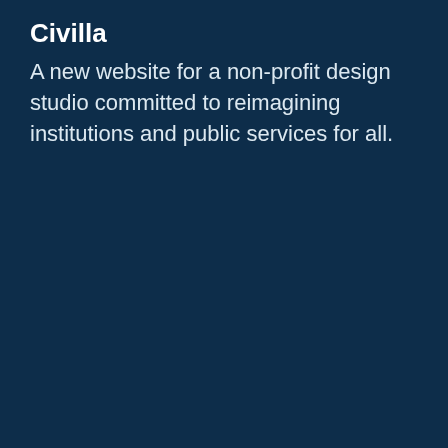Civilla
A new website for a non-profit design studio committed to reimagining institutions and public services for all.